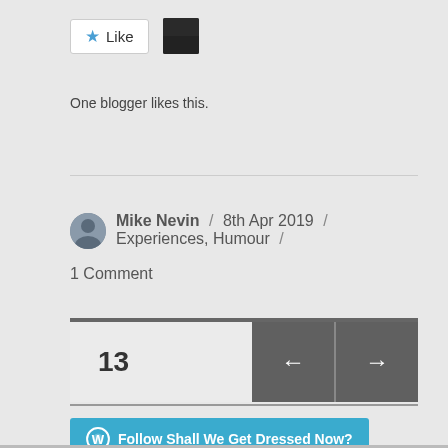[Figure (other): Like button with star icon and blogger avatar thumbnail]
One blogger likes this.
Mike Nevin / 8th Apr 2019 / Experiences, Humour / 1 Comment
[Figure (other): Navigation widget showing number 13 with left and right arrow buttons]
[Figure (other): Follow Shall We Get Dressed Now? WordPress follow button]